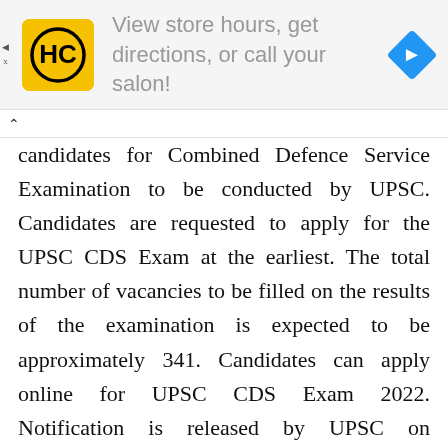[Figure (other): Advertisement banner: HC logo (yellow square with HC text) and text 'View store hours, get directions, or call your salon!' with a blue direction arrow diamond icon on the right]
candidates for Combined Defence Service Examination to be conducted by UPSC. Candidates are requested to apply for the UPSC CDS Exam at the earliest. The total number of vacancies to be filled on the results of the examination is expected to be approximately 341. Candidates can apply online for UPSC CDS Exam 2022. Notification is released by UPSC on 22.12.2022. The online applications can be filled up to 211th January, 2022 till 6:00 PM. The online Applications can be withdrawn from